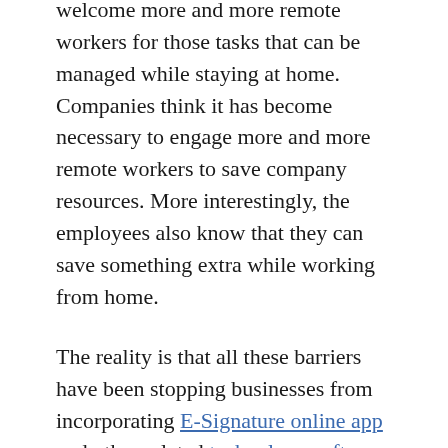many companies are ready to welcome more and more remote workers for those tasks that can be managed while staying at home. Companies think it has become necessary to engage more and more remote workers to save company resources. More interestingly, the employees also know that they can save something extra while working from home.
The reality is that all these barriers have been stopping businesses from incorporating E-Signature online app and other related technology software. Therefore, they were reluctant to allow their employees to work remotely. Companies need security and integrity to protect their information, which is possible only when they can identify all the users, locations, devices, and time on which the processing is done.
Here, we need to know something about electronic